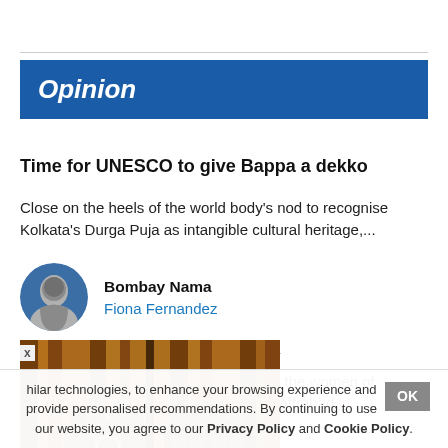Opinion
Time for UNESCO to give Bappa a dekko
Close on the heels of the world body's nod to recognise Kolkata's Durga Puja as intangible cultural heritage,...
Bombay Nama
Fiona Fernandez
[Figure (photo): Two hands gripping metal bars of a prison or gate, close-up, dark background]
a
d the women of Jaffrabad in
hilar technologies, to enhance your browsing experience and provide personalised recommendations. By continuing to use our website, you agree to our Privacy Policy and Cookie Policy.